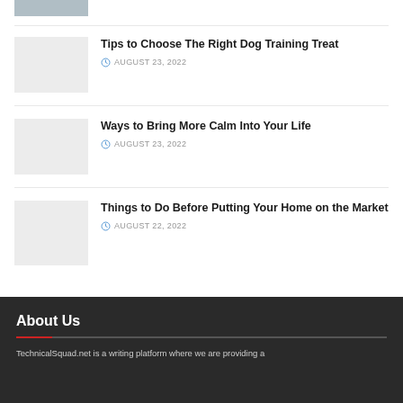[Figure (photo): Partial thumbnail image at top, mostly cropped]
Tips to Choose The Right Dog Training Treat
AUGUST 23, 2022
Ways to Bring More Calm Into Your Life
AUGUST 23, 2022
Things to Do Before Putting Your Home on the Market
AUGUST 22, 2022
About Us
TechnicalSquad.net is a writing platform where we are providing a